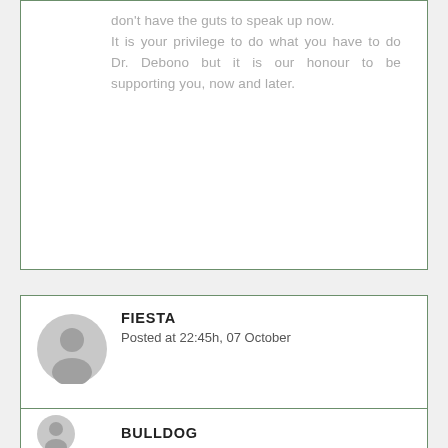don't have the guts to speak up now. It is your privilege to do what you have to do Dr. Debono but it is our honour to be supporting you, now and later.
FIESTA
Posted at 22:45h, 07 October
Sure, in Cuckooland,, J.Muscat.
BULLDOG